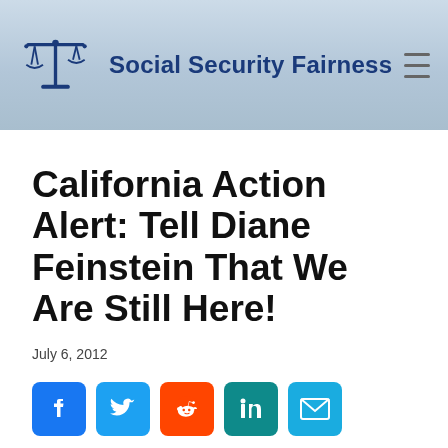Social Security Fairness
California Action Alert: Tell Diane Feinstein That We Are Still Here!
July 6, 2012
[Figure (infographic): Social media share buttons: Facebook, Twitter, Reddit, LinkedIn, Email]